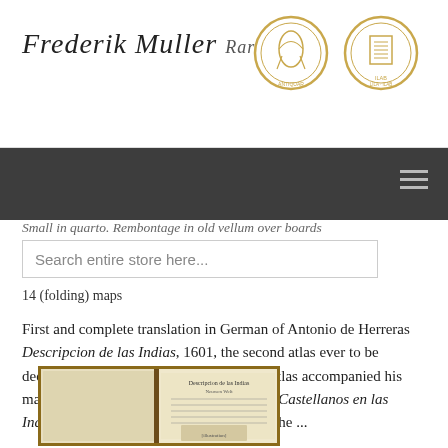Frederik Muller Rar[e Books]
Small in quarto. Rembontage in old vellum over boards
Search entire store here...
14 (folding) maps
First and complete translation in German of Antonio de Herreras Descripcion de las Indias, 1601, the second atlas ever to be dedicated to the Americas. This essential atlas accompanied his magnificent Historia de los Hechos de los Castellanos en las Indias Occidentales, Madrid 1601-1615. The ...
[Figure (photo): Open book showing an old printed text with ornate title page on right side]